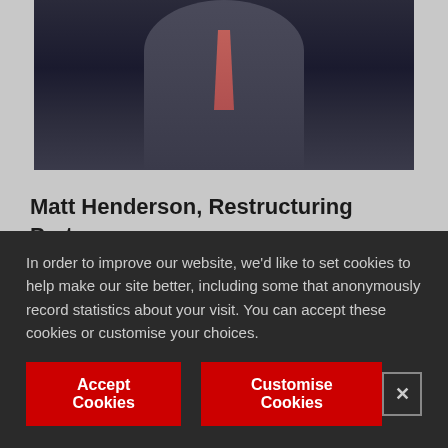[Figure (photo): Portrait photo of Matt Henderson in a dark suit with a pink/red tie, upper body visible against a dark background]
Matt Henderson, Restructuring Partner
Matt joined Johnston Carmichael in 2006 as Head of Business Recovery and Insolvency - as our Restructuring service offering was known at the time - leading the team through a period of
In order to improve our website, we'd like to set cookies to help make our site better, including some that anonymously record statistics about your visit. You can accept these cookies or customise your choices.